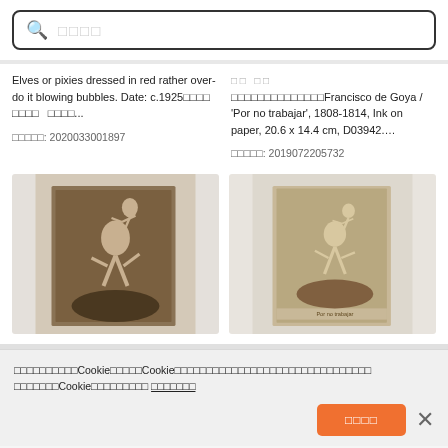Elves or pixies dressed in red rather over-do it blowing bubbles. Date: c.1925　　　　　　　　　　　　　　　…

　　　　: 2020033001897
Francisco de Goya / 'Por no trabajar', 1808-1814, Ink on paper, 20.6 x 14.4 cm, D03942.…

　　　　: 2019072205732
[Figure (illustration): Sepia-toned etching/print of figures (elves or pixies) in dynamic poses, dark background, historical artwork]
[Figure (illustration): Sepia-toned etching/print by Francisco de Goya 'Por no trabajar', figures in dynamic poses, aged paper appearance]
Cookie　　　　　Cookie　　　　　　　　　　　　　　　　　　　　　　　　　　　　　Cookie